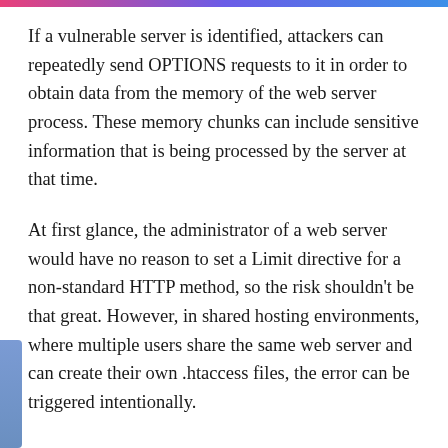If a vulnerable server is identified, attackers can repeatedly send OPTIONS requests to it in order to obtain data from the memory of the web server process. These memory chunks can include sensitive information that is being processed by the server at that time.
At first glance, the administrator of a web server would have no reason to set a Limit directive for a non-standard HTTP method, so the risk shouldn't be that great. However, in shared hosting environments, where multiple users share the same web server and can create their own .htaccess files, the error can be triggered intentionally.